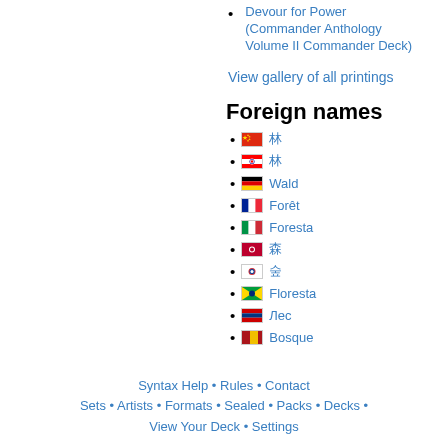Devour for Power (Commander Anthology Volume II Commander Deck)
View gallery of all printings
Foreign names
🇨🇳 林
🇹🇼 林
🇩🇪 Wald
🇫🇷 Forêt
🇮🇹 Foresta
🇯🇵 森
🇰🇷 숲
🇧🇷 Floresta
🇷🇺 Лес
🇪🇸 Bosque
Syntax Help • Rules • Contact
Sets • Artists • Formats • Sealed • Packs • Decks •
View Your Deck • Settings